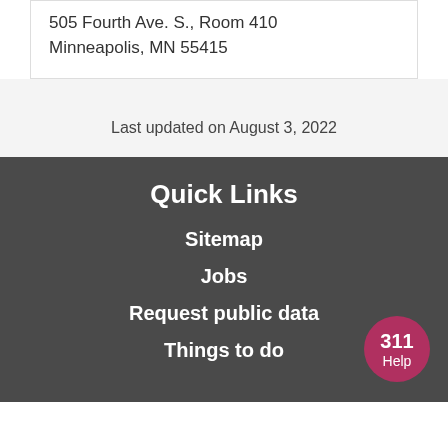505 Fourth Ave. S., Room 410
Minneapolis, MN 55415
Last updated on August 3, 2022
Quick Links
Sitemap
Jobs
Request public data
Things to do